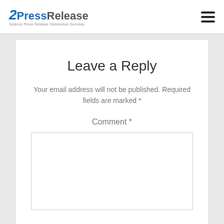2PressRelease Science Press Release Distribution Services
Leave a Reply
Your email address will not be published. Required fields are marked *
Comment *
[Figure (other): Empty comment text area input box]